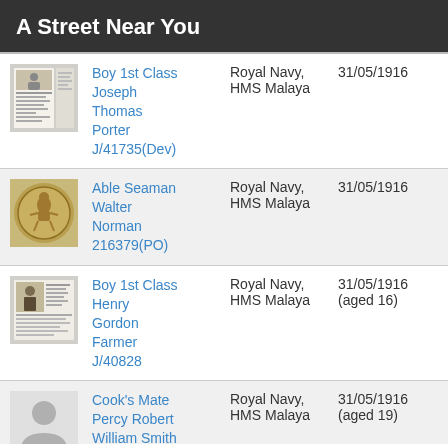A Street Near You
Boy 1st Class Joseph Thomas Porter J/41735(Dev) | Royal Navy, HMS Malaya | 31/05/1916
Able Seaman Walter Norman 216379(PO) | Royal Navy, HMS Malaya | 31/05/1916
Boy 1st Class Henry Gordon Farmer J/40828 | Royal Navy, HMS Malaya | 31/05/1916 (aged 16)
Cook's Mate Percy Robert William Smith | Royal Navy, HMS Malaya | 31/05/1916 (aged 19)